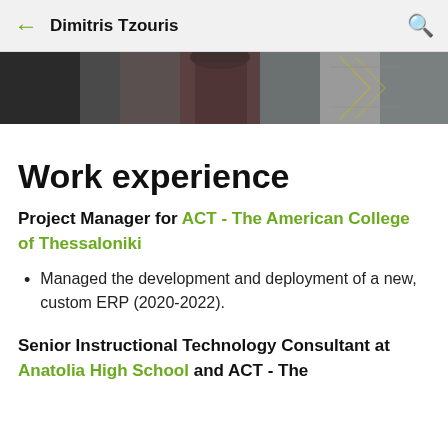← Dimitris Tzouris 🔍
[Figure (photo): Partial photo strip of a person in an indoor setting with decorative geometric pattern overlay]
Work experience
Project Manager for ACT - The American College of Thessaloniki
Managed the development and deployment of a new, custom ERP (2020-2022).
Senior Instructional Technology Consultant at Anatolia High School and ACT - The